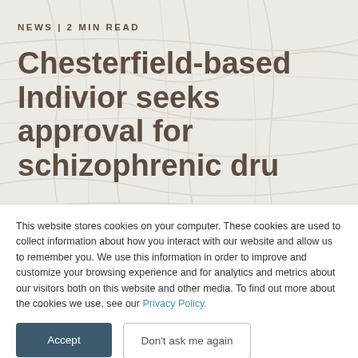NEWS | 2 MIN READ
Chesterfield-based Indivior seeks approval for schizophrenic drug
This website stores cookies on your computer. These cookies are used to collect information about how you interact with our website and allow us to remember you. We use this information in order to improve and customize your browsing experience and for analytics and metrics about our visitors both on this website and other media. To find out more about the cookies we use, see our Privacy Policy.
Accept
Don't ask me again